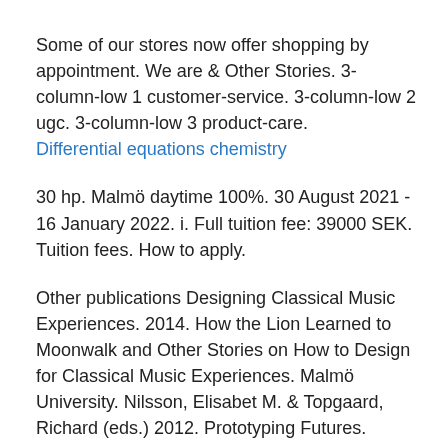Some of our stores now offer shopping by appointment. We are & Other Stories. 3-column-low 1 customer-service. 3-column-low 2 ugc. 3-column-low 3 product-care.
Differential equations chemistry
30 hp. Malmö daytime 100%. 30 August 2021 - 16 January 2022. i. Full tuition fee: 39000 SEK. Tuition fees. How to apply.
Other publications Designing Classical Music Experiences. 2014. How the Lion Learned to Moonwalk and Other Stories on How to Design for Classical Music Experiences. Malmö University. Nilsson, Elisabet M. & Topgaard, Richard (eds.) 2012. Prototyping Futures.